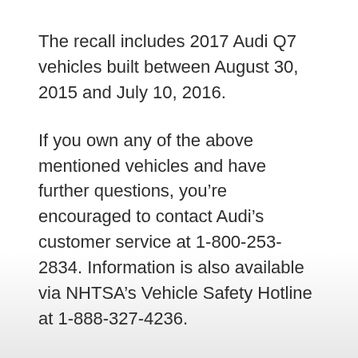The recall includes 2017 Audi Q7 vehicles built between August 30, 2015 and July 10, 2016.
If you own any of the above mentioned vehicles and have further questions, you’re encouraged to contact Audi’s customer service at 1-800-253-2834. Information is also available via NHTSA’s Vehicle Safety Hotline at 1-888-327-4236.